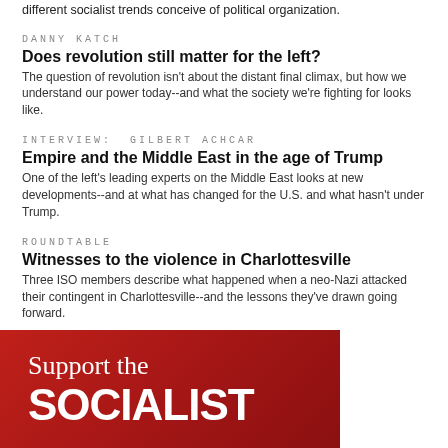different socialist trends conceive of political organization.
DANNY KATCH
Does revolution still matter for the left?
The question of revolution isn't about the distant final climax, but how we understand our power today--and what the society we're fighting for looks like.
INTERVIEW: GILBERT ACHCAR
Empire and the Middle East in the age of Trump
One of the left's leading experts on the Middle East looks at new developments--and at what has changed for the U.S. and what hasn't under Trump.
ROUNDTABLE
Witnesses to the violence in Charlottesville
Three ISO members describe what happened when a neo-Nazi attacked their contingent in Charlottesville--and the lessons they've drawn going forward.
[Figure (illustration): Red banner advertisement reading 'Support the SOCIALIST']